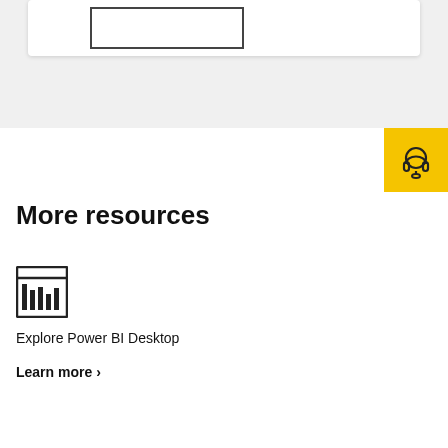[Figure (illustration): A white card with a bordered inner box, on a gray background]
[Figure (illustration): Yellow support/headset icon button in top right corner]
More resources
[Figure (illustration): Power BI Desktop icon: a bar chart inside a rectangular frame]
Explore Power BI Desktop
Learn more >